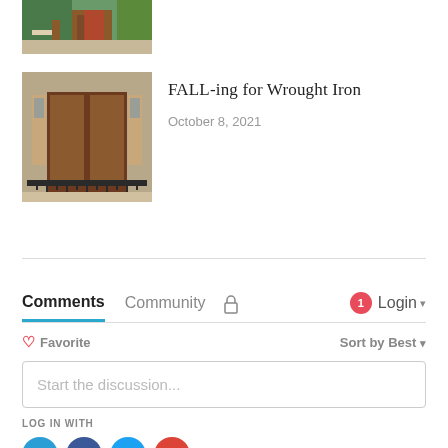[Figure (photo): Partial cropped photo of a building exterior with steps, green foliage, and pillars]
[Figure (photo): Photo of a house front door with ornate wrought iron details, stained glass sidelights, and decorative ironwork along the bottom]
FALL-ing for Wrought Iron
October 8, 2021
Comments  Community  🔒  1  Login
♡ Favorite  Sort by Best
Start the discussion...
LOG IN WITH
[Figure (logo): Disqus, Facebook, Twitter, Google social login icons]